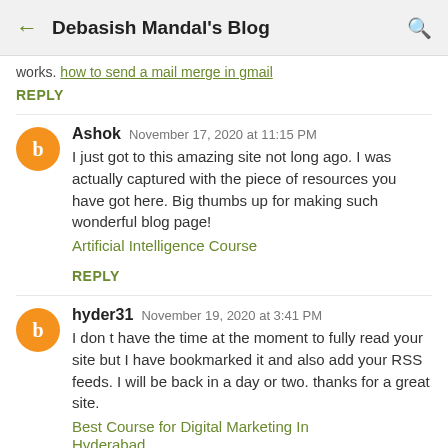Debasish Mandal's Blog
works. how to send a mail merge in gmail
REPLY
Ashok  November 17, 2020 at 11:15 PM
I just got to this amazing site not long ago. I was actually captured with the piece of resources you have got here. Big thumbs up for making such wonderful blog page!
Artificial Intelligence Course
REPLY
hyder31  November 19, 2020 at 3:41 PM
I don t have the time at the moment to fully read your site but I have bookmarked it and also add your RSS feeds. I will be back in a day or two. thanks for a great site.
Best Course for Digital Marketing In Hyderabad